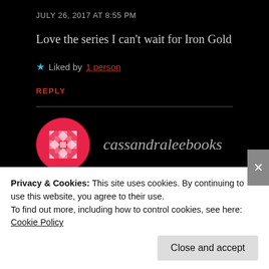JULY 26, 2017 AT 8:55 PM
Love the series I can't wait for Iron Gold
★ Liked by 1 person
REPLY
[Figure (illustration): Circular avatar with red and white geometric/quilt pattern]
cassandraleebooks
JULY 26, 2017 AT 9:23 PM
Privacy & Cookies: This site uses cookies. By continuing to use this website, you agree to their use. To find out more, including how to control cookies, see here: Cookie Policy
Close and accept